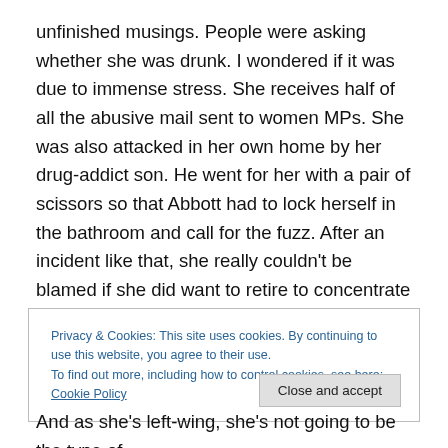unfinished musings. People were asking whether she was drunk. I wondered if it was due to immense stress. She receives half of all the abusive mail sent to women MPs. She was also attacked in her own home by her drug-addict son. He went for her with a pair of scissors so that Abbott had to lock herself in the bathroom and call for the fuzz. After an incident like that, she really couldn't be blamed if she did want to retire to concentrate more on her family.
Privacy & Cookies: This site uses cookies. By continuing to use this website, you agree to their use. To find out more, including how to control cookies, see here: Cookie Policy
And as she's left-wing, she's not going to be the type of